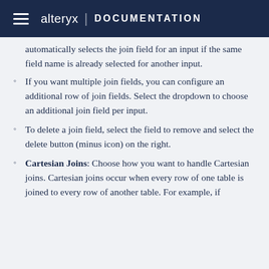alteryx | DOCUMENTATION
automatically selects the join field for an input if the same field name is already selected for another input.
If you want multiple join fields, you can configure an additional row of join fields. Select the dropdown to choose an additional join field per input.
To delete a join field, select the field to remove and select the delete button (minus icon) on the right.
Cartesian Joins: Choose how you want to handle Cartesian joins. Cartesian joins occur when every row of one table is joined to every row of another table. For example, if